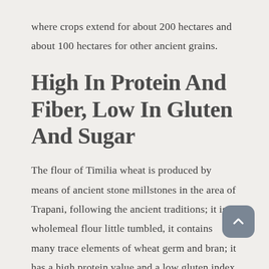where crops extend for about 200 hectares and about 100 hectares for other ancient grains.
High In Protein And Fiber, Low In Gluten And Sugar
The flour of Timilia wheat is produced by means of ancient stone millstones in the area of Trapani, following the ancient traditions; it is a wholemeal flour little tumbled, it contains many trace elements of wheat germ and bran; it has a high protein value and a low gluten index. This flour is very suitable for bread making, in addition to other Sicilian